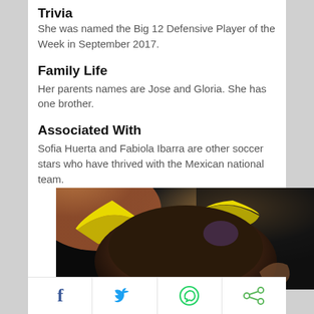She was named the Big 12 Defensive Player of the Week in September 2017.
Family Life
Her parents names are Jose and Gloria. She has one brother.
Associated With
Sofia Huerta and Fabiola Ibarra are other soccer stars who have thrived with the Mexican national team.
[Figure (photo): Close-up photo of a person with dark hair wearing a yellow headband or accessory, dark background]
Facebook | Twitter | WhatsApp | Share